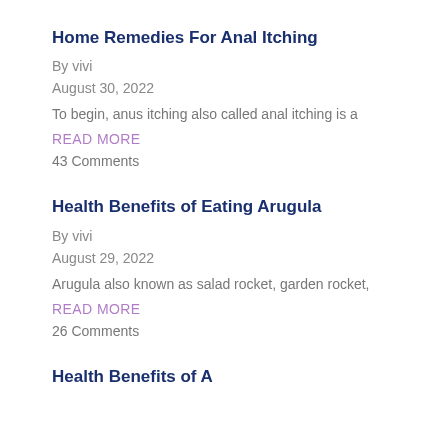Home Remedies For Anal Itching
By vivi
August 30, 2022
To begin, anus itching also called anal itching is a
READ MORE
43 Comments
Health Benefits of Eating Arugula
By vivi
August 29, 2022
Arugula also known as salad rocket, garden rocket,
READ MORE
26 Comments
Health Benefits of A